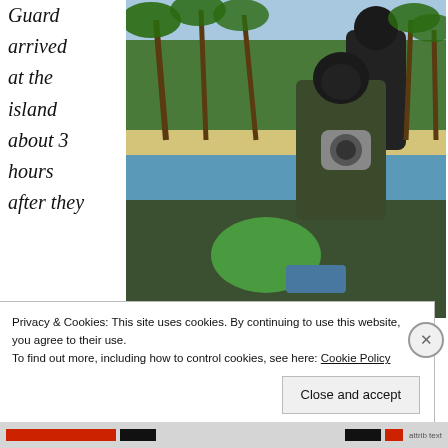Guard arrived at the island about 3 hours after they received the distress call.  Thankfully they brought their ski-masks and assault rifles.  They offered to give us a ride to another island where we were to go through customs and answer some more questions about the
[Figure (photo): Two masked soldiers in camouflage gear on a boat near a tropical island with palm trees and blue water]
Privacy & Cookies: This site uses cookies. By continuing to use this website, you agree to their use. To find out more, including how to control cookies, see here: Cookie Policy